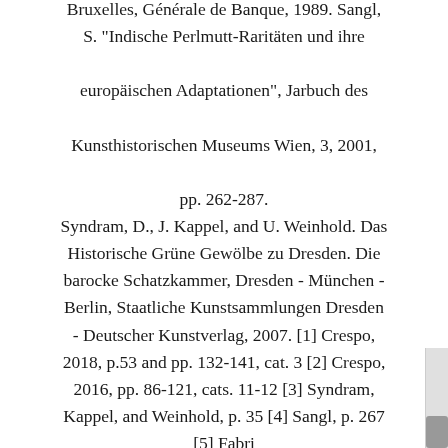Bruxelles, Générale de Banque, 1989. Sangl, S. "Indische Perlmutt-Raritäten und ihre europäischen Adaptationen", Jarbuch des Kunsthistorischen Museums Wien, 3, 2001, pp. 262-287. Syndram, D., J. Kappel, and U. Weinhold. Das Historische Grüne Gewölbe zu Dresden. Die barocke Schatzkammer, Dresden - München - Berlin, Staatliche Kunstsammlungen Dresden - Deutscher Kunstverlag, 2007. [1] Crespo, 2018, p.53 and pp. 132-141, cat. 3 [2] Crespo, 2016, pp. 86-121, cats. 11-12 [3] Syndram, Kappel, and Weinhold, p. 35 [4] Sangl, p. 267 [5] Fabri